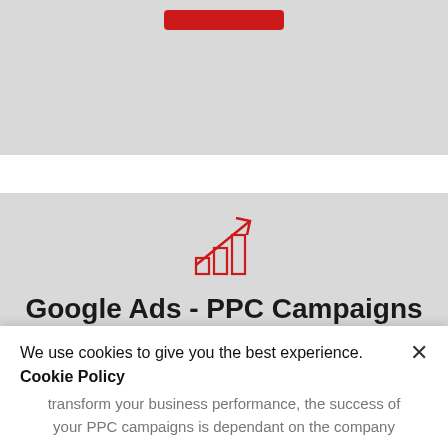[Figure (illustration): Red bar chart icon with upward-trending arrow, representing growth/PPC campaigns]
Google Ads - PPC Campaigns
Google Ads operates a pay-per-click design, in which users bid on keywords and also spend for each click on their ads. It's worth the work in the long run, but you need to get your Google ads campaign management
We use cookies to give you the best experience.
Cookie Policy
transform your business performance, the success of your PPC campaigns is dependant on the company